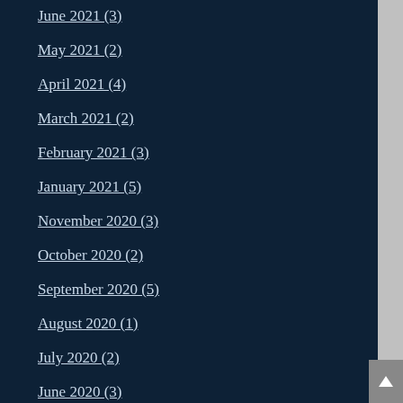June 2021 (3)
May 2021 (2)
April 2021 (4)
March 2021 (2)
February 2021 (3)
January 2021 (5)
November 2020 (3)
October 2020 (2)
September 2020 (5)
August 2020 (1)
July 2020 (2)
June 2020 (3)